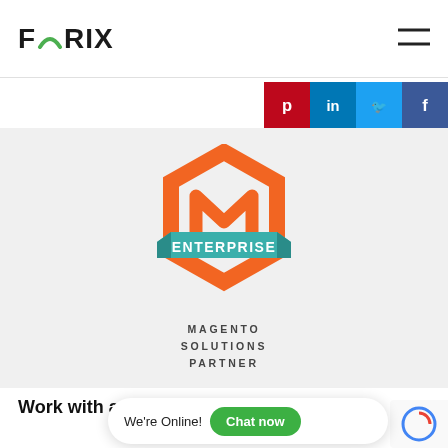FORIX
[Figure (infographic): Social media share icons: Pinterest, LinkedIn, Twitter, Facebook]
[Figure (logo): Magento Enterprise Solutions Partner badge with orange hexagon M logo and teal ENTERPRISE banner]
MAGENTO
SOLUTIONS
PARTNER
Work with a C
We're Online!  Chat now